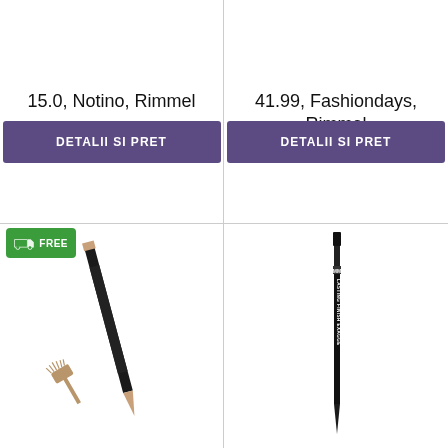15.0, Notino, Rimmel
DETALII SI PRET
41.99, Fashiondays, Rimmel
DETALII SI PRET
[Figure (photo): Free shipping badge with truck icon, and a Rimmel brow pencil product image with brush]
[Figure (photo): Rimmel Lasting Finish Exaggerate lip liner pencil product image]